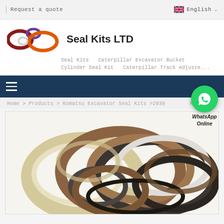Request a quote    English
[Figure (logo): Seal Kits LTD company logo with colored oval ring shapes]
Seal Kits LTD
Seal Kits  Caterpillar Excavator Bucket Cylinder Seal Kit  Caterpillar Track Adjuste...
[Figure (screenshot): Dark blue navigation bar with hamburger menu icon]
Home > Products > Komatsu Excavator Seal Kits >2938  KO...
[Figure (photo): WhatsApp Online chat button with green phone icon]
[Figure (photo): Photo of multiple hydraulic seal kit rings of various sizes and colors including beige, brown, black, and gray]